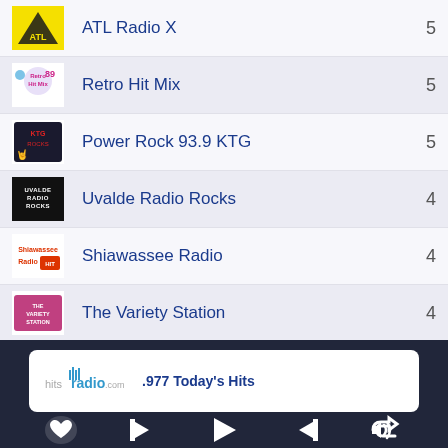ATL Radio X  5
Retro Hit Mix  5
Power Rock 93.9 KTG  5
Uvalde Radio Rocks  4
Shiawassee Radio  4
The Variety Station  4
.977 Today's Hits